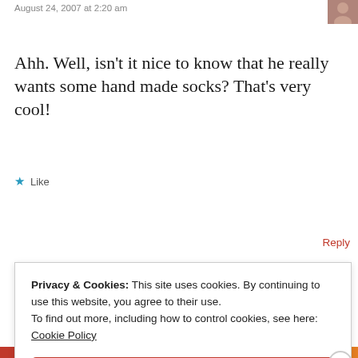August 24, 2007 at 2:20 am
Ahh. Well, isn't it nice to know that he really wants some hand made socks? That's very cool!
★ Like
Reply
Privacy & Cookies: This site uses cookies. By continuing to use this website, you agree to their use.
To find out more, including how to control cookies, see here:
Cookie Policy
Close and accept